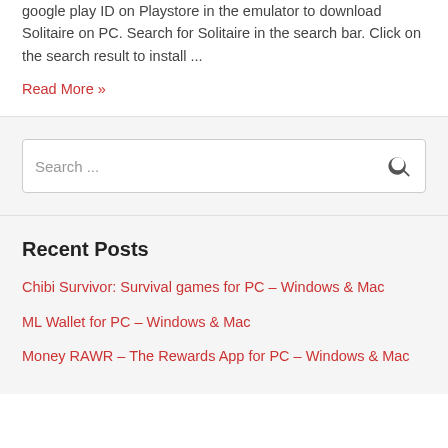google play ID on Playstore in the emulator to download Solitaire on PC. Search for Solitaire in the search bar. Click on the search result to install ...
Read More »
Search ...
Recent Posts
Chibi Survivor: Survival games for PC – Windows & Mac
ML Wallet for PC – Windows & Mac
Money RAWR – The Rewards App for PC – Windows & Mac